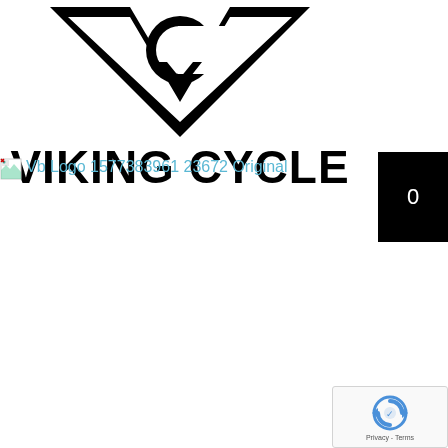[Figure (logo): Viking Cycle logo: geometric V/C/G symbol above bold text VIKING CYCLE]
[Figure (other): Broken image placeholder with alt text: Vb Logo 1577383961 23672 Original]
[Figure (other): Black cart button showing the number 0]
[Figure (other): Google reCAPTCHA widget with circular arrow logo and Privacy - Terms links]